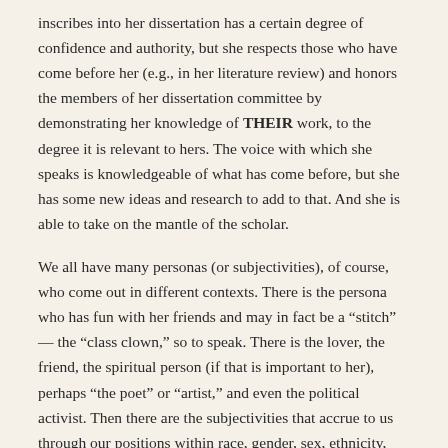inscribes into her dissertation has a certain degree of confidence and authority, but she respects those who have come before her (e.g., in her literature review) and honors the members of her dissertation committee by demonstrating her knowledge of THEIR work, to the degree it is relevant to hers. The voice with which she speaks is knowledgeable of what has come before, but she has some new ideas and research to add to that. And she is able to take on the mantle of the scholar.
We all have many personas (or subjectivities), of course, who come out in different contexts. There is the persona who has fun with her friends and may in fact be a “stitch” — the “class clown,” so to speak. There is the lover, the friend, the spiritual person (if that is important to her), perhaps “the poet” or “artist,” and even the political activist. Then there are the subjectivities that accrue to us through our positions within race, gender, sex, ethnicity, ability, and class backgrounds (as well as other forms of intersubjectivity).